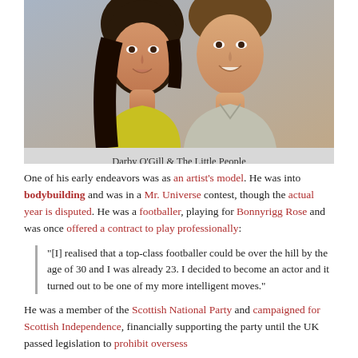[Figure (photo): A couple smiling closely together, a woman with dark hair and a man; promotional photo for Darby O'Gill & The Little People]
Darby O'Gill & The Little People
Image Credit: Time
One of his early endeavors was as an artist's model. He was into bodybuilding and was in a Mr. Universe contest, though the actual year is disputed. He was a footballer, playing for Bonnyrigg Rose and was once offered a contract to play professionally:
"[I] realised that a top-class footballer could be over the hill by the age of 30 and I was already 23. I decided to become an actor and it turned out to be one of my more intelligent moves."
He was a member of the Scottish National Party and campaigned for Scottish Independence, financially supporting the party until the UK passed legislation to prohibit oversess